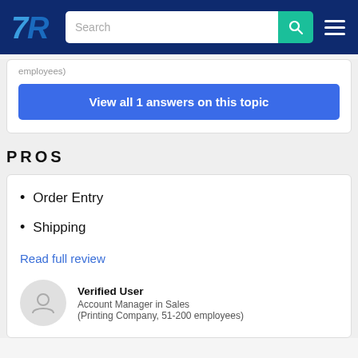TrustRadius navigation bar with logo, search field, and menu
employees)
View all 1 answers on this topic
PROS
Order Entry
Shipping
Read full review
Verified User
Account Manager in Sales
(Printing Company, 51-200 employees)